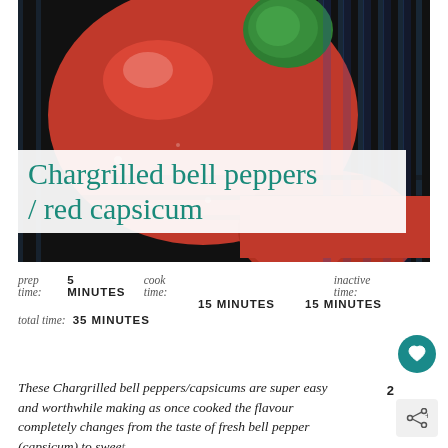[Figure (photo): Close-up photo of red bell peppers (capsicums) on a grill with dark grill grates visible in the background. The peppers are shiny and red with green stems.]
Chargrilled bell peppers / red capsicum
prep time: 5 MINUTES   cook time:   inactive time:
15 MINUTES   15 MINUTES
total time: 35 MINUTES
These Chargrilled bell peppers/capsicums are super easy and worthwhile making as once cooked the flavour completely changes from the taste of fresh bell pepper (capsicum) to sweet and piquant.